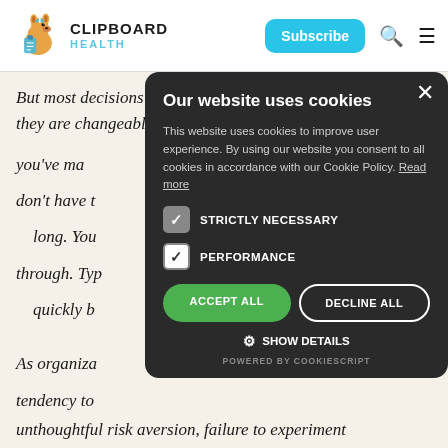[Figure (logo): Clipboard Health logo with kangaroo mascot icon and text 'CLIPBOARD HEALTH']
But most decisions aren't like that -- they are changeable, … you've ma… don't have t… long. You through. Typ… quickly b…
As organiza… tendency to making proc… Type 2 decis…
unthoughtful risk aversion, failure to experiment
Our website uses cookies

This website uses cookies to improve user experience. By using our website you consent to all cookies in accordance with our Cookie Policy. Read more

STRICTLY NECESSARY
PERFORMANCE

ACCEPT ALL   DECLINE ALL

SHOW DETAILS

POWERED BY COOKIESCRIPT